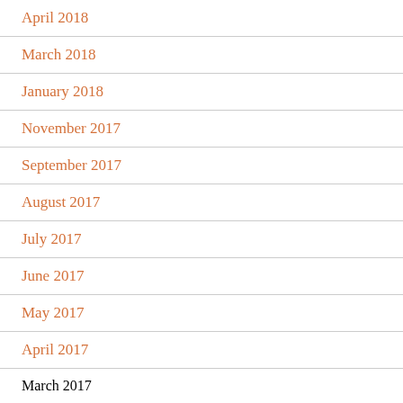April 2018
March 2018
January 2018
November 2017
September 2017
August 2017
July 2017
June 2017
May 2017
April 2017
March 2017